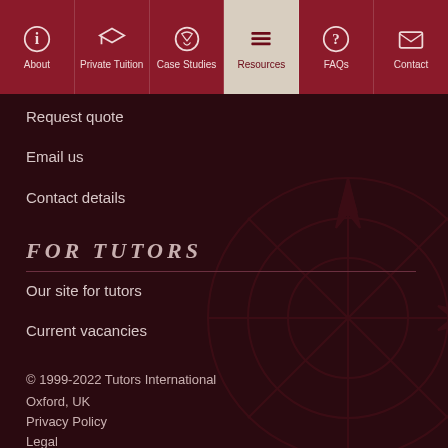About | Private Tuition | Case Studies | Resources | FAQs | Contact
Request quote
Email us
Contact details
FOR TUTORS
Our site for tutors
Current vacancies
© 1999-2022 Tutors International
Oxford, UK
Privacy Policy
Legal
Chinese version